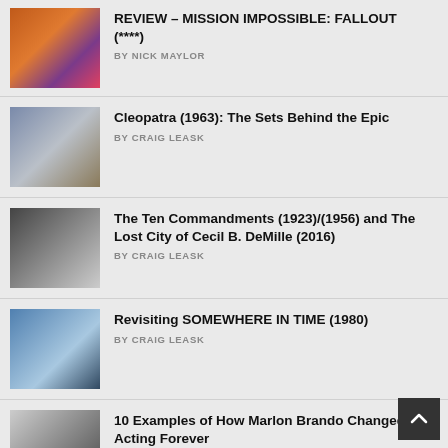REVIEW – MISSION IMPOSSIBLE: FALLOUT (****)
BY NICK MAYLOR
Cleopatra (1963): The Sets Behind the Epic
BY CRAIG LEASK
The Ten Commandments (1923)/(1956) and The Lost City of Cecil B. DeMille (2016)
BY CRAIG LEASK
Revisiting SOMEWHERE IN TIME (1980)
BY CRAIG LEASK
10 Examples of How Marlon Brando Changed Acting Forever
BY JOHN H. FOOTE